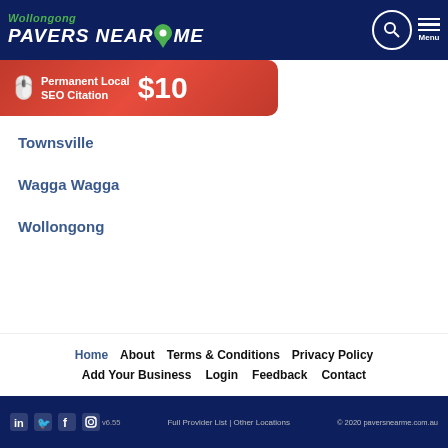Wollongong Pavers Near Me
[Figure (screenshot): Ad banner: Permanent Local SEO Citation $10]
Townsville
Wagga Wagga
Wollongong
Home | About | Terms & Conditions | Privacy Policy | Add Your Business | Login | Feedback | Contact
Full Provider List | Other Locations | © 2020 paversnearme.com.au | v6.55